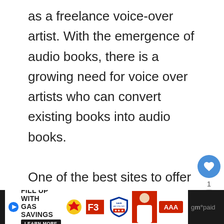as a freelance voice-over artist. With the emergence of audio books, there is a growing need for voice over artists who can convert existing books into audio books.

One of the best sites to offer up your voice-over skills is ACX. You can look for jobs listed there and audition to read for books that will become available on audible, amazon and iTunes. You just need to sign-up, create a profile, and submit some sa...
[Figure (other): Advertisement bar at the bottom: dark background with Shell, F3, Save As You Go shield, person in white shirt, AAA logo. Text reads 'FILL UP WITH GAS SAVINGS LEARN MORE'. Right side partially visible text 'g paid'.]